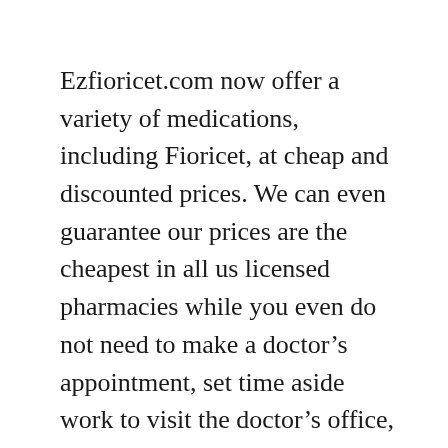Ezfioricet.com now offer a variety of medications, including Fioricet, at cheap and discounted prices. We can even guarantee our prices are the cheapest in all us licensed pharmacies while you even do not need to make a doctor’s appointment, set time aside work to visit the doctor’s office, even no need waiting in the pharmacy. Most of all, you do not need pay huge doctor bills!
With just a couple of clicks of your mouse, you can buy prescription Fioricet online and have it shipped directly to your doorway! And the best part. (Yes. it get better!) you do not even have